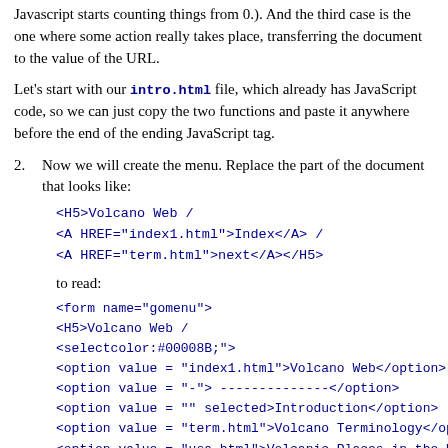Javascript starts counting things from 0.). And the third case is the one where some action really takes place, transferring the document to the value of the URL.
Let's start with our intro.html file, which already has JavaScript code, so we can just copy the two functions and paste it anywhere before the end of the ending JavaScript tag.
2. Now we will create the menu. Replace the part of the document that looks like:
<H5>Volcano Web /
<A HREF="index1.html">Index</A> /
<A HREF="term.html">next</A></H5>
to read:
<form name="gomenu">
<H5>Volcano Web /
<select onChange="goPage(this.options[this.selected
<option value = "index1.html">Volcano Web</option>
<option value = "-"> --------------</option>
<option value = "" selected>Introduction</option>
<option value = "term.html">Volcano Terminology</opt
<option value = "usa.html">Volcanic Places in the US
<option value = "mars.html">Volcanic Places on Mars
<option value = "proj.html">Research Project</option
</select>